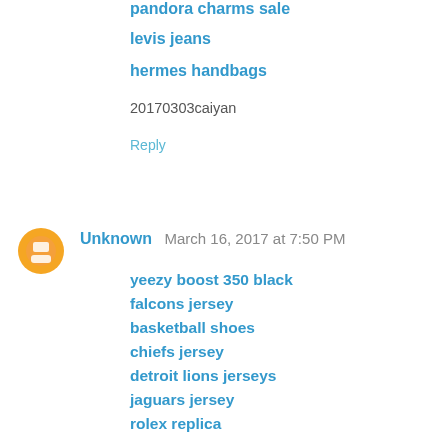pandora charms sale
levis jeans
hermes handbags
20170303caiyan
Reply
Unknown  March 16, 2017 at 7:50 PM
yeezy boost 350 black
falcons jersey
basketball shoes
chiefs jersey
detroit lions jerseys
jaguars jersey
rolex replica
ray bans
replica watches
new orleans saints jerseys
Reply
Unknown  June 20, 2017 at 6:49 PM